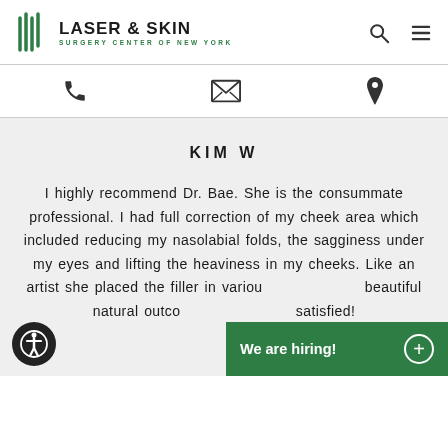[Figure (logo): Laser & Skin Surgery Center of New York logo with green stripe icon and bold text]
Laser & Skin Surgery Center of New York
KIM W
I highly recommend Dr. Bae. She is the consummate professional. I had full correction of my cheek area which included reducing my nasolabial folds, the sagginess under my eyes and lifting the heaviness in my cheeks. Like an artist she placed the filler in various areas with a beautiful natural outco... satisfied!